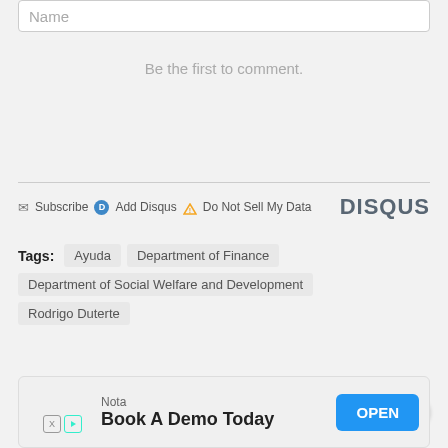Name
Be the first to comment.
Subscribe  Add Disqus  Do Not Sell My Data   DISQUS
Tags:  Ayuda  Department of Finance  Department of Social Welfare and Development  Rodrigo Duterte
ADVERTISEMENT
[Figure (screenshot): Close button (X) circle]
[Figure (infographic): Advertisement banner: Nota - Book A Demo Today - OPEN button]